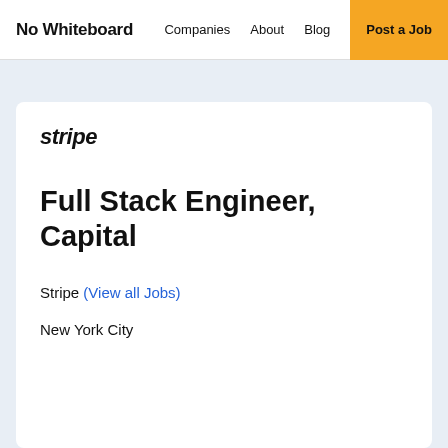No Whiteboard | Companies | About | Blog | Post a Job
[Figure (logo): Stripe company logo text in bold italic]
Full Stack Engineer, Capital
Stripe (View all Jobs)
New York City